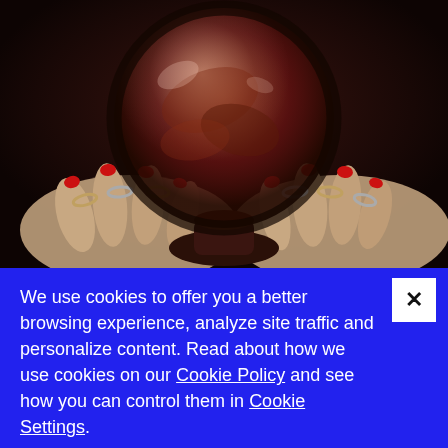[Figure (photo): A fortune teller's hands with red nail polish and multiple rings reaching around a dark red/brown crystal ball on a wooden stand, set against a dark background.]
We use cookies to offer you a better browsing experience, analyze site traffic and personalize content. Read about how we use cookies on our Cookie Policy and see how you can control them in Cookie Settings.